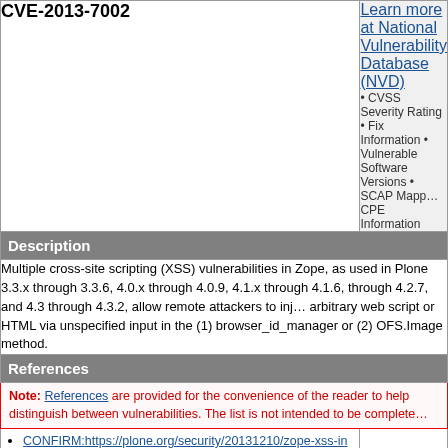CVE-2013-7002
Learn more at National Vulnerability Database (NVD)
• CVSS Severity Rating • Fix Information • Vulnerable Software Versions • SCAP Mappings • CPE Information
Description
Multiple cross-site scripting (XSS) vulnerabilities in Zope, as used in Plone 3.3.x through 3.3.6, 4.0.x through 4.0.9, 4.1.x through 4.1.6, through 4.2.7, and 4.3 through 4.3.2, allow remote attackers to inject arbitrary web script or HTML via unspecified input in the (1) browser_id_manager or (2) OFS.Image method.
References
Note: References are provided for the convenience of the reader to help distinguish between vulnerabilities. The list is not intended to be complete.
CONFIRM:https://plone.org/security/20131210/zope-xss-in-...
CONFIRM:https://plone.org/security/20131210/zope-xss-in-browseridmanager
MISC:http://seclists.org/oss-sec/2013/q4/467
MISC:http://seclists.org/oss-sec/2013/q4/485
MISC:https://exchange.xforce.ibmcloud.com/vulnerabilities/...
MISC:https://exchange.xforce.ibmcloud.com/vulnerabilities/...
Assigning CNA